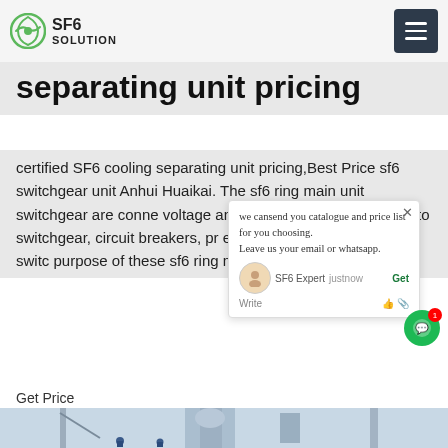SF6 SOLUTION
separating unit pricing
certified SF6 cooling separating unit pricing,Best Price sf6 switchgear unit Anhui Huaikai. The sf6 ring main unit switchgear are conne voltage and low voltage cables and auto switchgear, circuit breakers, pr equipment and motor magnet switc purpose of these sf6 ring main Get Price
[Figure (screenshot): Live chat popup showing: 'we cansend you catalogue and price list for you choosing. Leave us your email or whatsapp.' with SF6 Expert agent, justnow timestamp, Write input area with like and attachment icons, and a Get Price button.]
Get Price
[Figure (photo): Industrial equipment photo showing large mechanical units with blue workers visible at the bottom, industrial machinery and infrastructure in an outdoor setting.]